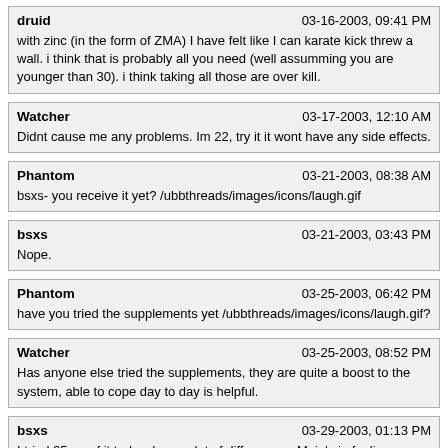druid | 03-16-2003, 09:41 PM
with zinc (in the form of ZMA) I have felt like I can karate kick threw a wall. i think that is probably all you need (well assumming you are younger than 30). i think taking all those are over kill.
Watcher | 03-17-2003, 12:10 AM
Didnt cause me any problems. Im 22, try it it wont have any side effects.
Phantom | 03-21-2003, 08:38 AM
bsxs- you receive it yet? /ubbthreads/images/icons/laugh.gif
bsxs | 03-21-2003, 03:43 PM
Nope.
Phantom | 03-25-2003, 06:42 PM
have you tried the supplements yet /ubbthreads/images/icons/laugh.gif?
Watcher | 03-25-2003, 08:52 PM
Has anyone else tried the supplements, they are quite a boost to the system, able to cope day to day is helpful.
bsxs | 03-29-2003, 01:13 PM
I tried 25mg of it today. I see a lot of differences. Mainly in feeling healthier and